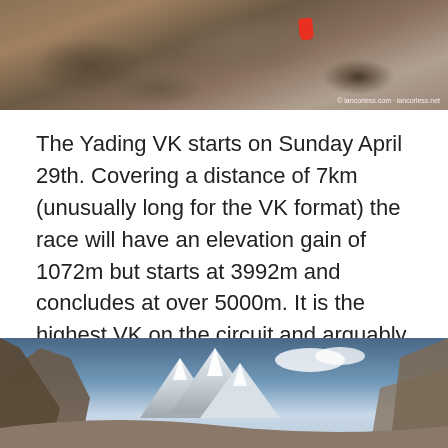[Figure (photo): Rocky mountain terrain with a person in a red jacket visible on the rocks. Watermark reads: © iancorless.com · iancorless.net]
The Yading VK starts on Sunday April 29th. Covering a distance of 7km (unusually long for the VK format) the race will have an elevation gain of 1072m but starts at 3992m and concludes at over 5000m. It is the highest VK on the circuit and arguably one of the most stunning! Alpine forests, prayer flags, a glacier lake and a high pass at 5000m concludes a lung and leg busting race. It's a race that all must try once, the scenery, landscape and views are mind-blowing.
[Figure (photo): Mountain landscape with dramatic peaks, snow-capped mountains, blue sky with clouds, and rocky foreground. Ian Corless logo visible in top left corner.]